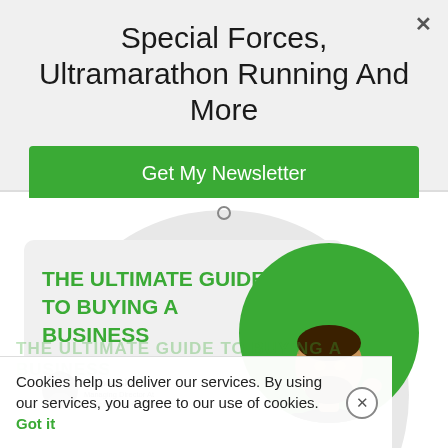Special Forces, Ultramarathon Running And More
Get My Newsletter
[Figure (illustration): Book cover for 'The Ultimate Guide to Buying a Business' by Deepak Shukla, Managing Director at Peak Passive Group. Shows green bold title text on white/grey background with a circular green accent containing a photo of a bearded man in a black shirt looking thoughtful.]
Cookies help us deliver our services. By using our services, you agree to our use of cookies. Got it